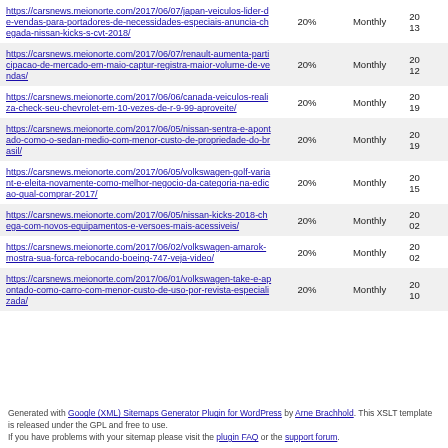| URL | Priority | Change Frequency | Last Modified |
| --- | --- | --- | --- |
| https://carsnews.meionorte.com/2017/06/07/japan-veiculos-lider-de-vendas-para-portadores-de-necessidades-especiais-anuncia-chegada-nissan-kicks-s-cvt-2018/ | 20% | Monthly | 20 13 |
| https://carsnews.meionorte.com/2017/06/07/renault-aumenta-participacao-de-mercado-em-maio-captur-registra-maior-volume-de-vendas/ | 20% | Monthly | 20 12 |
| https://carsnews.meionorte.com/2017/06/06/canada-veiculos-realiza-check-seu-chevrolet-em-10-vezes-de-r-9-99-aproveite/ | 20% | Monthly | 20 19 |
| https://carsnews.meionorte.com/2017/06/05/nissan-sentra-e-apontado-como-o-sedan-medio-com-menor-custo-de-propriedade-do-brasil/ | 20% | Monthly | 20 19 |
| https://carsnews.meionorte.com/2017/06/05/volkswagen-golf-variant-e-eleita-novamente-como-melhor-negocio-da-categoria-na-edicao-qual-comprar-2017/ | 20% | Monthly | 20 15 |
| https://carsnews.meionorte.com/2017/06/05/nissan-kicks-2018-chega-com-novos-equipamentos-e-versoes-mais-acessiveis/ | 20% | Monthly | 20 02 |
| https://carsnews.meionorte.com/2017/06/02/volkswagen-amarok-mostra-sua-forca-rebocando-boeing-747-veja-video/ | 20% | Monthly | 20 02 |
| https://carsnews.meionorte.com/2017/06/01/volkswagen-take-e-apontado-como-carro-com-menor-custo-de-uso-por-revista-especializada/ | 20% | Monthly | 20 10 |
Generated with Google (XML) Sitemaps Generator Plugin for WordPress by Arne Brachhold. This XSLT template is released under the GPL and free to use.
If you have problems with your sitemap please visit the plugin FAQ or the support forum.